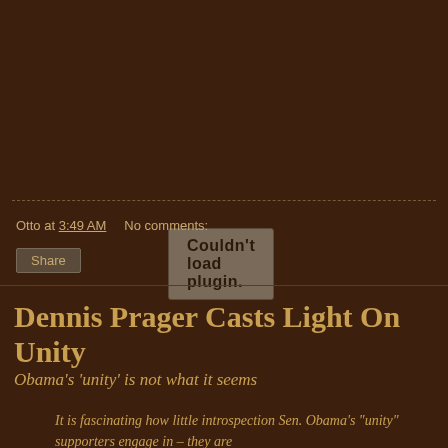[Figure (other): Plugin placeholder box with text 'Couldn't load plugin.']
Otto at 3:49 AM    No comments:
Share
Dennis Prager Casts Light On Unity
Obama's 'unity' is not what it seems
It is fascinating how little introspection Sen. Obama's "unity" supporters engage in – they are